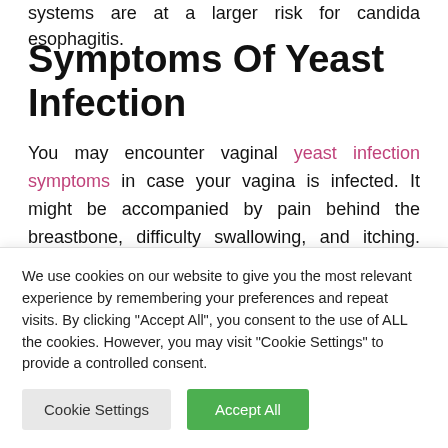systems are at a larger risk for candida esophagitis.
Symptoms Of Yeast Infection
You may encounter vaginal yeast infection symptoms in case your vagina is infected. It might be accompanied by pain behind the breastbone, difficulty swallowing, and itching. Most instances of yeast infection are minor, and many individuals do not even have any symptoms. Depending on the severity from the infection, you might
We use cookies on our website to give you the most relevant experience by remembering your preferences and repeat visits. By clicking "Accept All", you consent to the use of ALL the cookies. However, you may visit "Cookie Settings" to provide a controlled consent.
Cookie Settings
Accept All